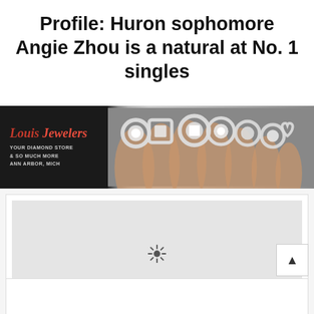Profile: Huron sophomore Angie Zhou is a natural at No. 1 singles
[Figure (photo): Advertisement banner for Louis Jewelers showing hands wearing multiple large diamond rings against a dark background. Text reads 'Your Diamond Store & So Much More Ann Arbor, Mich' with the Louis Jewelers logo in red script.]
[Figure (photo): A media content area with a loading spinner icon (sun/gear icon) on a light gray background, embedded within a white card with border.]